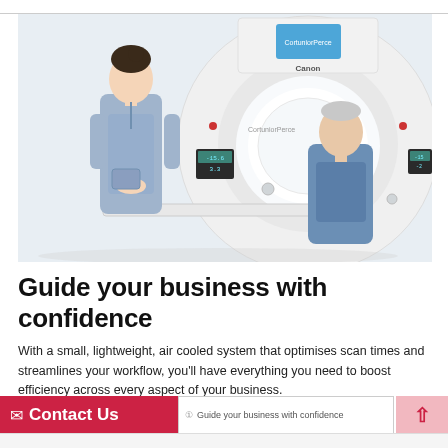[Figure (photo): A female healthcare professional in blue scrubs stands next to a seated older male patient in front of a large white Canon CT scanner. The CT scanner has a large circular gantry opening and a blue display screen on top with the Canon logo visible.]
Guide your business with confidence
With a small, lightweight, air cooled system that optimises scan times and streamlines your workflow, you'll have everything you need to boost efficiency across every aspect of your business.
Contact Us    Guide your business with confidence